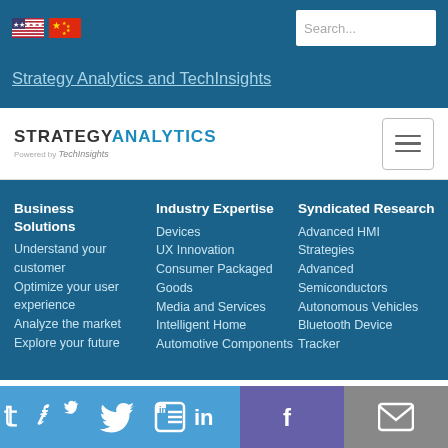[Figure (logo): US flag and Chinese flag icons in top bar]
Strategy Analytics and TechInsights
[Figure (logo): Strategy Analytics powered by TechInsights logo]
Business Solutions
Understand your customer
Optimize your user experience
Analyze the market
Explore your future
Industry Expertise
Devices
UX Innovation
Consumer Packaged Goods
Media and Services
Intelligent Home
Automotive Components
Syndicated Research
Advanced HMI Strategies
Advanced Semiconductors
Autonomous Vehicles
Bluetooth Device Tracker
[Figure (infographic): Social media bar with Twitter, LinkedIn, Facebook, and email icons]